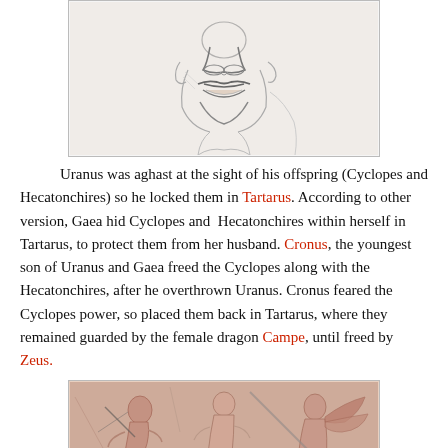[Figure (illustration): Pencil sketch drawing of a face, showing lower half with nose, lips, chin and neck, rendered in graphite]
Uranus was aghast at the sight of his offspring (Cyclopes and Hecatonchires) so he locked them in Tartarus. According to other version, Gaea hid Cyclopes and Hecatonchires within herself in Tartarus, to protect them from her husband. Cronus, the youngest son of Uranus and Gaea freed the Cyclopes along with the Hecatonchires, after he overthrown Uranus. Cronus feared the Cyclopes power, so placed them back in Tartarus, where they remained guarded by the female dragon Campe, until freed by Zeus.
[Figure (illustration): Ancient fresco or painting depicting figures in reddish/pink tones, appears to show mythological scene with multiple figures and a winged creature]